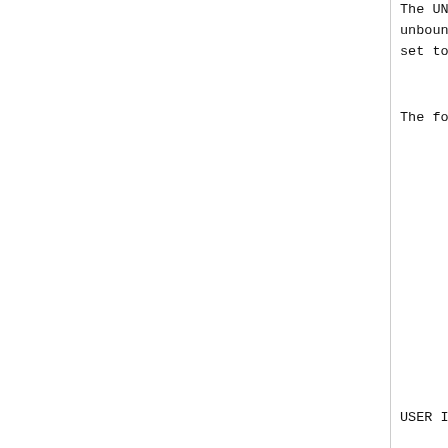The UNBIND message is tra
unbound.  The time stamp w
set to zero in the request
The following is the forma
[Figure (schematic): Protocol message format table showing Word column and Byte 0 column with rows: Word 0 Cmd=0xE4, Word 1 empty, Word 2 Reser..., Word 3 empty, Word 4 empty]
USER INFO                                          Co